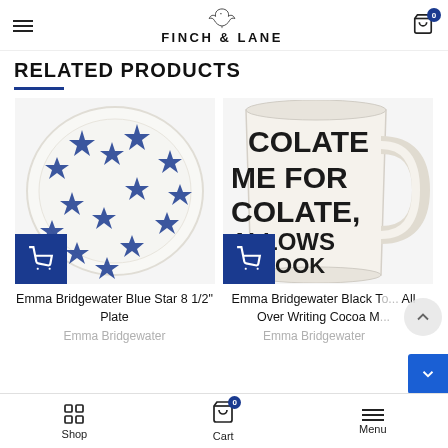FINCH & LANE
RELATED PRODUCTS
[Figure (photo): Emma Bridgewater Blue Star 8 1/2 inch plate — white ceramic plate with blue star pattern]
Emma Bridgewater Blue Star 8 1/2" Plate
Emma Bridgewater
[Figure (photo): Emma Bridgewater Black Toast All Over Writing Cocoa Mug — white ceramic mug with black text reading CHOCOLATE, MALLOWS, BOOK]
Emma Bridgewater Black Toast All Over Writing Cocoa M...
Emma Bridgewater
Shop   Cart   Menu